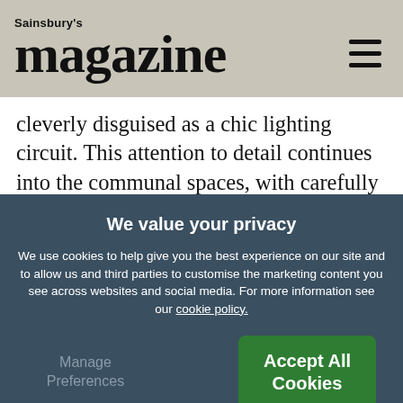Sainsbury's magazine
cleverly disguised as a chic lighting circuit. This attention to detail continues into the communal spaces, with carefully chosen furniture in the open plan lobby to offer a range of heights and support levels, plus an ingenious use of wall coverings and soft furnishings to reduce noise reverberation and visual glare for people with a range of sensory impairments.
We value your privacy
We use cookies to help give you the best experience on our site and to allow us and third parties to customise the marketing content you see across websites and social media. For more information see our cookie policy.
Manage Preferences
Accept All Cookies